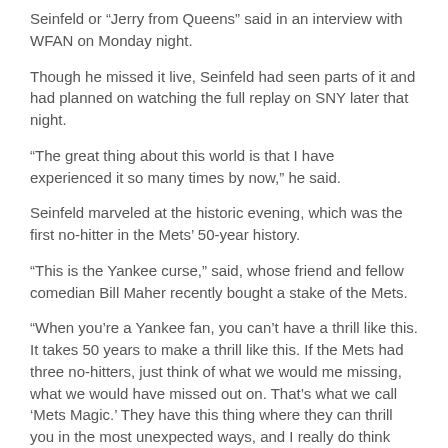Seinfeld or “Jerry from Queens” said in an interview with WFAN on Monday night.
Though he missed it live, Seinfeld had seen parts of it and had planned on watching the full replay on SNY later that night.
“The great thing about this world is that I have experienced it so many times by now,” he said.
Seinfeld marveled at the historic evening, which was the first no-hitter in the Mets’ 50-year history.
“This is the Yankee curse,” said, whose friend and fellow comedian Bill Maher recently bought a stake of the Mets.
“When you’re a Yankee fan, you can’t have a thrill like this. It takes 50 years to make a thrill like this. If the Mets had three no-hitters, just think of what we would me missing, what we would have missed out on. That’s what we call ‘Mets Magic.’ They have this thing where they can thrill you in the most unexpected ways, and I really do think there’s something special about this organization. It’s why I love ‘em.”